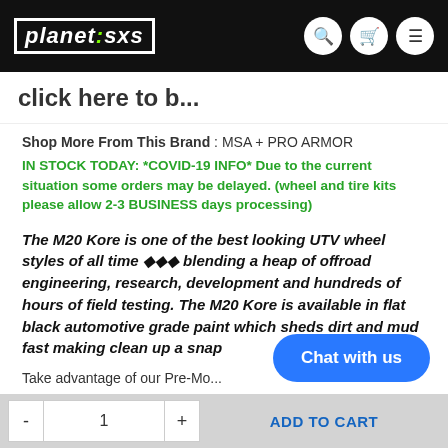planet sxs
click here to b...
Shop More From This Brand : MSA + PRO ARMOR
IN STOCK TODAY: *COVID-19 INFO* Due to the current situation some orders may be delayed. (wheel and tire kits please allow 2-3 BUSINESS days processing)
The M20 Kore is one of the best looking UTV wheel styles of all time ◆◆◆ blending a heap of offroad engineering, research, development and hundreds of hours of field testing. The M20 Kore is available in flat black automotive grade paint which sheds dirt and mud fast making clean up a snap.
Take advantage of our Pre-Mo...
Chat with us
- 1 + ADD TO CART